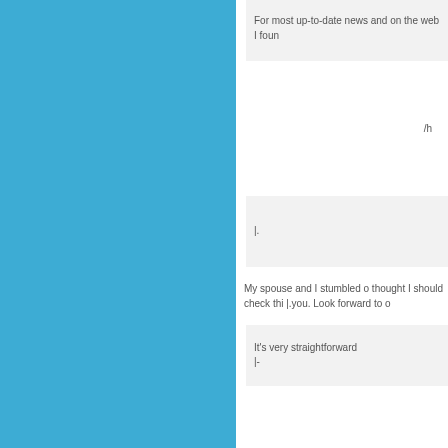[Figure (other): Blue decorative panel on the left side of the page]
For most up-to-date news and on the web I foun
/h
|.
My spouse and I stumbled o thought I should check thi |.you. Look forward to o
It's very straightforward |-